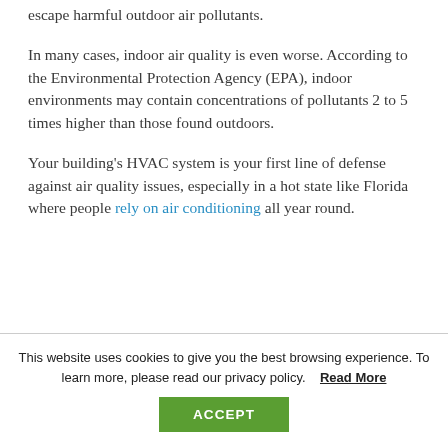escape harmful outdoor air pollutants.
In many cases, indoor air quality is even worse. According to the Environmental Protection Agency (EPA), indoor environments may contain concentrations of pollutants 2 to 5 times higher than those found outdoors.
Your building's HVAC system is your first line of defense against air quality issues, especially in a hot state like Florida where people rely on air conditioning all year round.
(partial text cut off)
This website uses cookies to give you the best browsing experience. To learn more, please read our privacy policy. Read More
ACCEPT